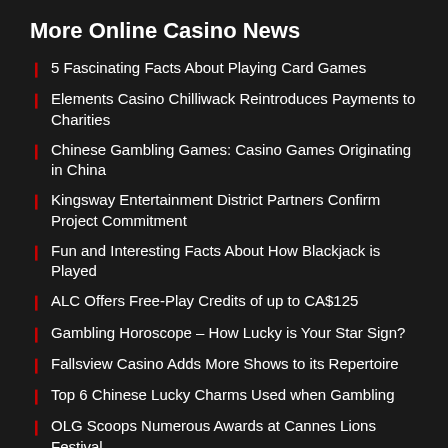More Online Casino News
5 Fascinating Facts About Playing Card Games
Elements Casino Chilliwack Reintroduces Payments to Charities
Chinese Gambling Games: Casino Games Originating in China
Kingsway Entertainment District Partners Confirm Project Commitment
Fun and Interesting Facts About How Blackjack is Played
ALC Offers Free-Play Credits of up to CA$125
Gambling Horoscope – How Lucky is Your Star Sign?
Fallsview Casino Adds More Shows to its Repertoire
Top 6 Chinese Lucky Charms Used when Gambling
OLG Scoops Numerous Awards at Cannes Lions Festival